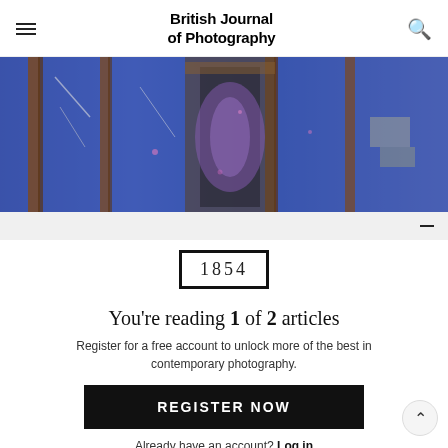British Journal of Photography
[Figure (photo): Photograph of a derelict blue-painted room with exposed wooden beams, peeling paint, and a doorway visible in the background with purple light]
[Figure (logo): 1854 logo — number 1854 inside a black square border]
You're reading 1 of 2 articles
Register for a free account to unlock more of the best in contemporary photography.
REGISTER NOW
Already have an account? Log in